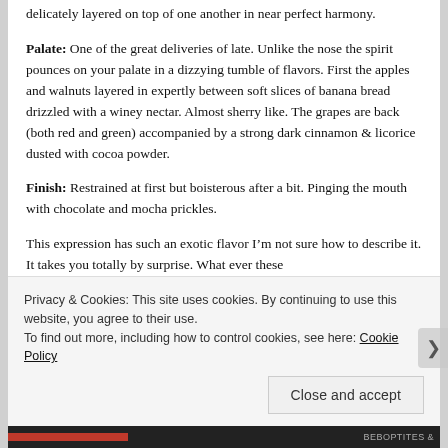delicately layered on top of one another in near perfect harmony.
Palate: One of the great deliveries of late. Unlike the nose the spirit pounces on your palate in a dizzying tumble of flavors. First the apples and walnuts layered in expertly between soft slices of banana bread drizzled with a winey nectar. Almost sherry like. The grapes are back (both red and green) accompanied by a strong dark cinnamon & licorice dusted with cocoa powder.
Finish: Restrained at first but boisterous after a bit. Pinging the mouth with chocolate and mocha prickles.
This expression has such an exotic flavor I’m not sure how to describe it. It takes you totally by surprise. What ever these
Privacy & Cookies: This site uses cookies. By continuing to use this website, you agree to their use.
To find out more, including how to control cookies, see here: Cookie Policy
Close and accept